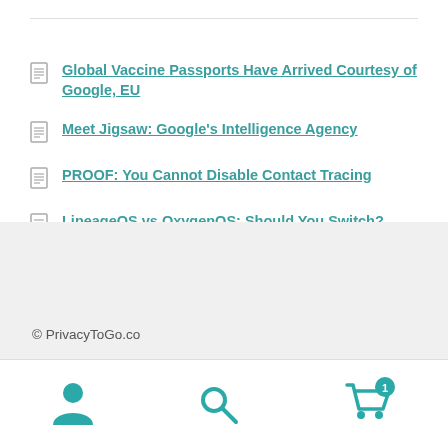Global Vaccine Passports Have Arrived Courtesy of Google, EU
Meet Jigsaw: Google's Intelligence Agency
PROOF: You Cannot Disable Contact Tracing
LineageOS vs OxygenOS: Should You Switch?
How Contact Tracing Works – Two (Equally Creepy) Case Studies
© PrivacyToGo.co